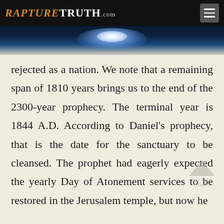RaptureTruth.com
[Figure (photo): Website banner with blue glowing light on dark background]
rejected as a nation. We note that a remaining span of 1810 years brings us to the end of the 2300-year prophecy. The terminal year is 1844 A.D. According to Daniel's prophecy, that is the date for the sanctuary to be cleansed. The prophet had eagerly expected the yearly Day of Atonement services to be restored in the Jerusalem temple, but now he